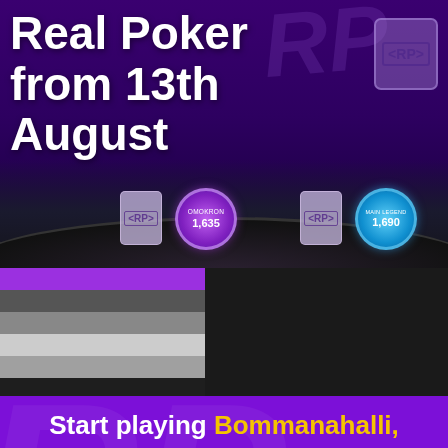Real Poker from 13th August
[Figure (screenshot): Poker game interface showing player avatars with chips labeled OMOKRON 1,635 and MAIN LEGEND 1,690 on a dark purple poker table background with card icons]
[Figure (infographic): Color bar strips panel showing purple, dark gray, medium gray, light gray, and white horizontal stripes on dark background]
Start playing Bommanahalli, Bangalore Poker with Real Poker India ...